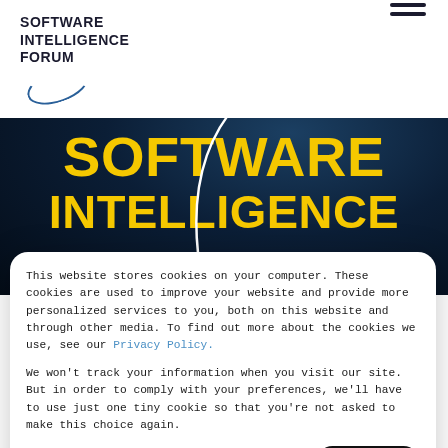SOFTWARE INTELLIGENCE FORUM
[Figure (screenshot): Dark blue radial gradient hero background with SOFTWARE INTELLIGENCE text in large yellow bold uppercase letters and a white swoosh curve graphic]
SOFTWARE INTELLIGENCE
This website stores cookies on your computer. These cookies are used to improve your website and provide more personalized services to you, both on this website and through other media. To find out more about the cookies we use, see our Privacy Policy.
We won't track your information when you visit our site. But in order to comply with your preferences, we'll have to use just one tiny cookie so that you're not asked to make this choice again.
Cookies settings    Accept All
need a common language to explain how good our